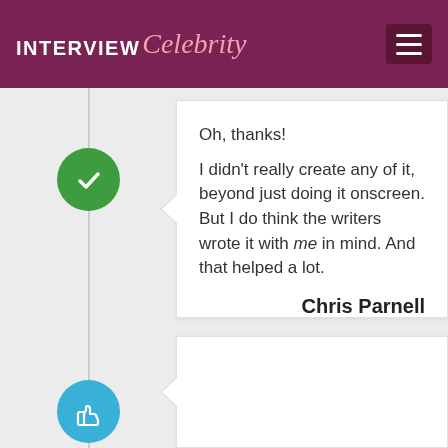INTERVIEW Celebrity
Oh, thanks!
I didn't really create any of it, beyond just doing it onscreen. But I do think the writers wrote it with me in mind. And that helped a lot.
Chris Parnell